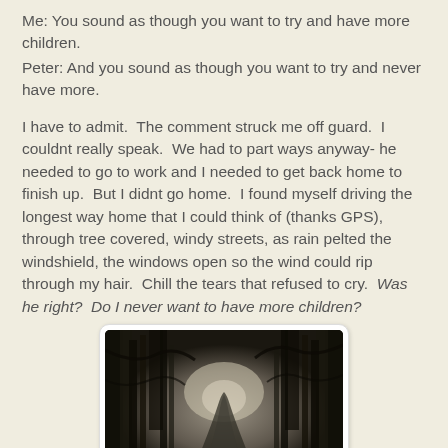Me: You sound as though you want to try and have more children.
Peter: And you sound as though you want to try and never have more.
I have to admit.  The comment struck me off guard.  I couldnt really speak.  We had to part ways anyway- he needed to go to work and I needed to get back home to finish up.  But I didnt go home.  I found myself driving the longest way home that I could think of (thanks GPS), through tree covered, windy streets, as rain pelted the windshield, the windows open so the wind could rip through my hair.  Chill the tears that refused to cry.  Was he right?  Do I never want to have more children?
[Figure (photo): Dark moody black and white photograph of a winding road through a dense foggy forest]
It plagued me for the rest of the day.  And then, on the